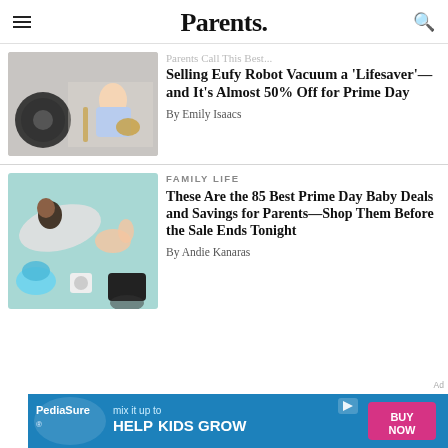Parents.
Parents Call This Best Selling Eufy Robot Vacuum a 'Lifesaver'—and It's Almost 50% Off for Prime Day
By Emily Isaacs
FAMILY LIFE
These Are the 85 Best Prime Day Baby Deals and Savings for Parents—Shop Them Before the Sale Ends Tonight
By Andie Kanaras
[Figure (photo): PediaSure advertisement banner: mix it up to HELP KIDS GROW, BUY NOW button]